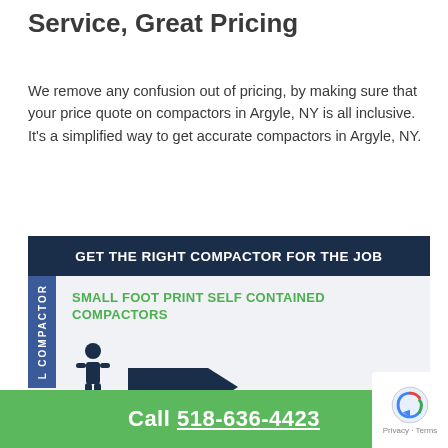Service, Great Pricing
We remove any confusion out of pricing, by making sure that your price quote on compactors in Argyle, NY is all inclusive. It's a simplified way to get accurate compactors in Argyle, NY.
[Figure (infographic): Dark navy header reading 'GET THE RIGHT COMPACTOR FOR THE JOB', with a blue vertical side label 'L COMPACTOR', green bold text 'SMALL FOOT PRINT SELF CONTAINED COMPACTORS', and icons of a person and a compactor machine. Partial text 'Ideal for...' at the bottom.]
Call 518-636-4423